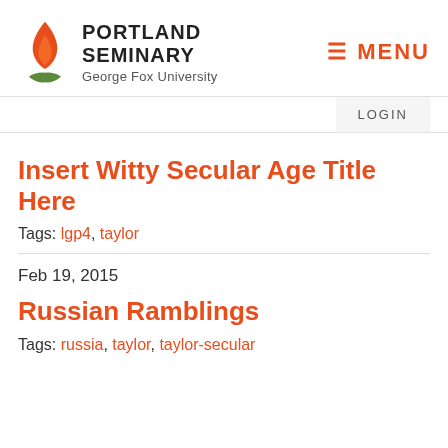[Figure (logo): Portland Seminary / George Fox University logo with orange flame and green leaf icon]
≡ MENU
LOGIN
Insert Witty Secular Age Title Here
Tags: lgp4, taylor
Feb 19, 2015
Russian Ramblings
Tags: russia, taylor, taylor-secular